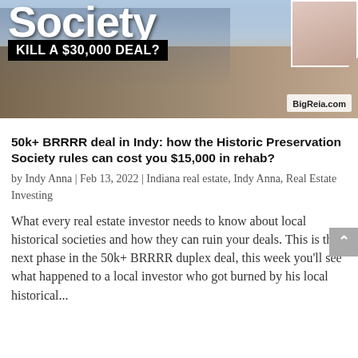[Figure (illustration): Thumbnail image for a real estate blog post showing a European-style building street scene with text overlay reading 'Society KILL A $30,000 DEAL?' and BigReia.com watermark, plus a small portrait photo of a woman in the top right corner.]
50k+ BRRRR deal in Indy: how the Historic Preservation Society rules can cost you $15,000 in rehab?
by Indy Anna | Feb 13, 2022 | Indiana real estate, Indy Anna, Real Estate Investing
What every real estate investor needs to know about local historical societies and how they can ruin your deals. This is the next phase in the 50k+ BRRRR duplex deal, this week you'll see what happened to a local investor who got burned by his local historical...